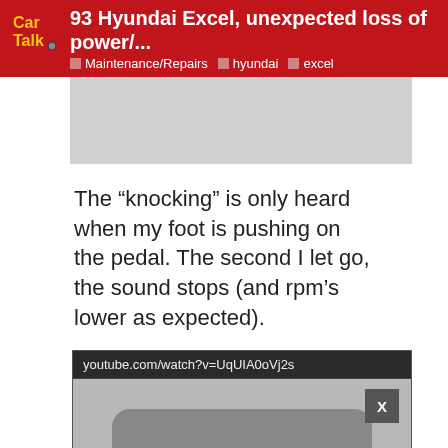93 Hyundai Excel, unexpected loss of power/... | Maintenance/Repairs | hyundai | excel
[Figure (screenshot): Gray image placeholder (top video still)]
The “knocking” is only heard when my foot is pushing on the pedal. The second I let go, the sound stops (and rpm’s lower as expected).
[Figure (screenshot): YouTube video embed showing youtube.com/watch?v=UqUIA0oVj2s with a device image and an overlaid Petco ad: 'Get Your Pet Ready For Summe / Petco' with play and close controls]